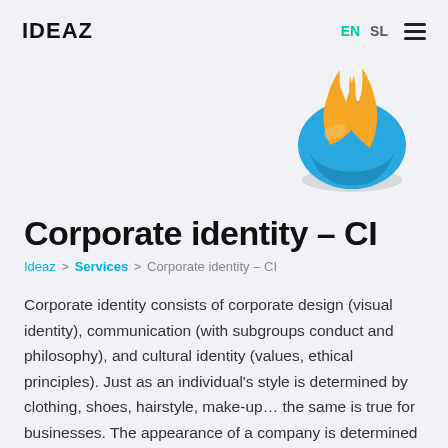IDEAZ   EN  SL  ≡
[Figure (illustration): 3D illustration of a blue hand-like blob shape with two orange flame or leaf shapes emerging from it, on a light grey background]
Corporate identity – CI
Ideaz > Services > Corporate identity – CI
Corporate identity consists of corporate design (visual identity), communication (with subgroups conduct and philosophy), and cultural identity (values, ethical principles). Just as an individual's style is determined by clothing, shoes, hairstyle, make-up… the same is true for businesses. The appearance of a company is determined